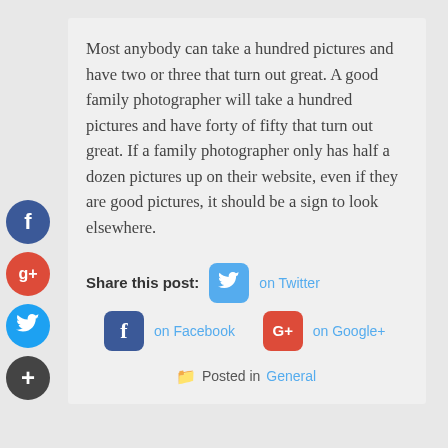Most anybody can take a hundred pictures and have two or three that turn out great. A good family photographer will take a hundred pictures and have forty of fifty that turn out great. If a family photographer only has half a dozen pictures up on their website, even if they are good pictures, it should be a sign to look elsewhere.
Share this post: on Twitter on Facebook on Google+
Posted in General